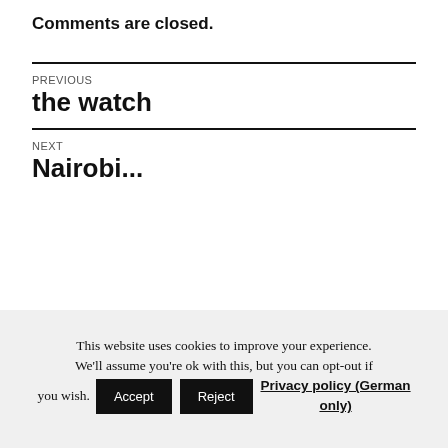Comments are closed.
PREVIOUS
the watch
NEXT
Nairobi...
This website uses cookies to improve your experience. We'll assume you're ok with this, but you can opt-out if you wish. Accept Reject Privacy policy (German only)